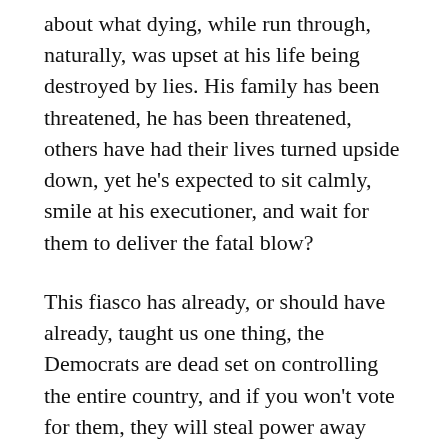about what dying, while run through, naturally, was upset at his life being destroyed by lies. His family has been threatened, he has been threatened, others have had their lives turned upside down, yet he's expected to sit calmly, smile at his executioner, and wait for them to deliver the fatal blow?
This fiasco has already, or should have already, taught us one thing, the Democrats are dead set on controlling the entire country, and if you won't vote for them, they will steal power away from who you did. If by some demonic intervention, they manage to take back Congress in 2018, and the White House in 2019, expect their nominees to be “treated with respect and the process honored, including no